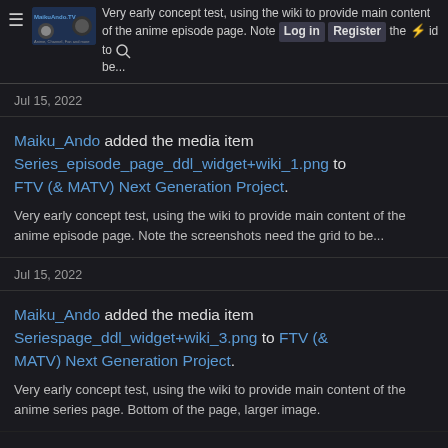Very early concept test, using the wiki to provide main content of the anime episode page. Note the screenshots need the grid to be... [hamburger menu, logo, Login, Register buttons, search icon]
Jul 15, 2022
Maiku_Ando added the media item Series_episode_page_ddl_widget+wiki_1.png to FTV (& MATV) Next Generation Project.
Very early concept test, using the wiki to provide main content of the anime episode page. Note the screenshots need the grid to be...
Jul 15, 2022
Maiku_Ando added the media item Seriespage_ddl_widget+wiki_3.png to FTV (& MATV) Next Generation Project.
Very early concept test, using the wiki to provide main content of the anime series page. Bottom of the page, larger image.